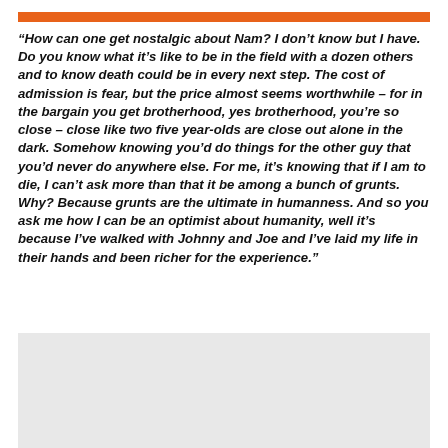“How can one get nostalgic about Nam? I don’t know but I have. Do you know what it’s like to be in the field with a dozen others and to know death could be in every next step. The cost of admission is fear, but the price almost seems worthwhile – for in the bargain you get brotherhood, yes brotherhood, you’re so close – close like two five year-olds are close out alone in the dark. Somehow knowing you’d do things for the other guy that you’d never do anywhere else. For me, it’s knowing that if I am to die, I can’t ask more than that it be among a bunch of grunts. Why? Because grunts are the ultimate in humanness. And so you ask me how I can be an optimist about humanity, well it’s because I’ve walked with Johnny and Joe and I’ve laid my life in their hands and been richer for the experience.”